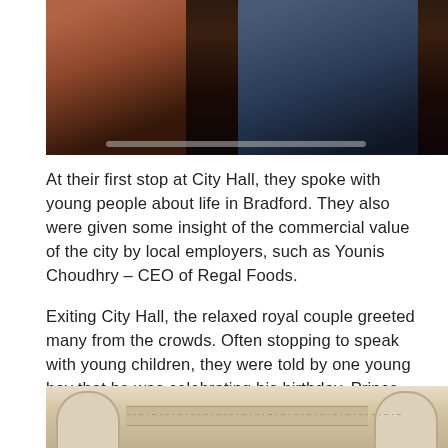[Figure (photo): Two people photographed indoors, one wearing a pink/salmon top on the left, one in darker clothing on the right, against a dark background.]
At their first stop at City Hall, they spoke with young people about life in Bradford. They also were given some insight of the commercial value of the city by local employers, such as Younis Choudhry – CEO of Regal Foods.
Exiting City Hall, the relaxed royal couple greeted many from the crowds. Often stopping to speak with young children, they were told by one young boy that he was celebrating his birthday. Prince William, in a jovial tone, said that had he known he would have brought a present along for him.
[Figure (photo): Bottom portion of a classical stone building facade with ornate decorative carvings and arch details.]